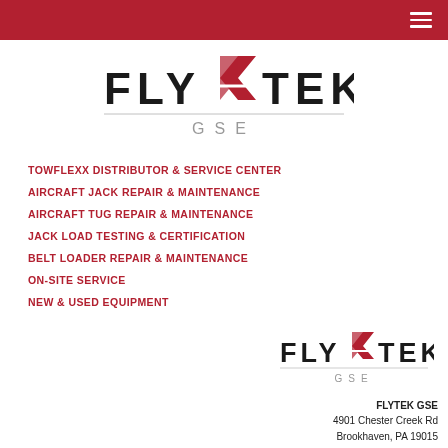FLYTEK GSE — navigation header bar with hamburger menu
[Figure (logo): FLYTEK GSE logo with red geometric F-arrow mark, text FLY TEK GSE in dark/gray letters]
TOWFLEXX DISTRIBUTOR & SERVICE CENTER
AIRCRAFT JACK REPAIR & MAINTENANCE
AIRCRAFT TUG REPAIR & MAINTENANCE
JACK LOAD TESTING & CERTIFICATION
BELT LOADER REPAIR & MAINTENANCE
ON-SITE SERVICE
NEW & USED EQUIPMENT
[Figure (logo): FLYTEK GSE logo smaller version bottom right]
FLYTEK GSE
4901 Chester Creek Rd
Brookhaven, PA 19015